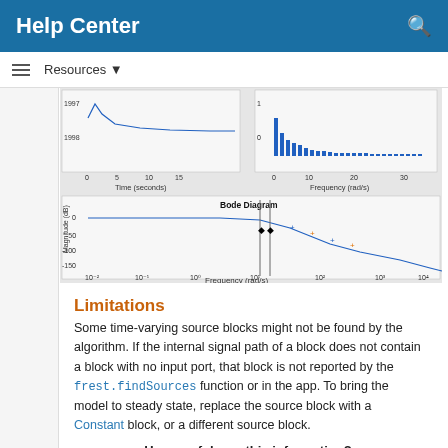Help Center
[Figure (screenshot): MATLAB Help Center screenshot showing two plots at the top (step response time-domain and frequency spectrum) and a Bode Diagram below showing Magnitude (dB) vs Frequency (rad/s) on a log scale, with markers near 10^1 rad/s.]
Limitations
Some time-varying source blocks might not be found by the algorithm. If the internal signal path of a block does not contain a block with no input port, that block is not reported by the frest.findSources function or in the app. To bring the model to steady state, replace the source block with a Constant block, or a different source block.
How useful was this information?